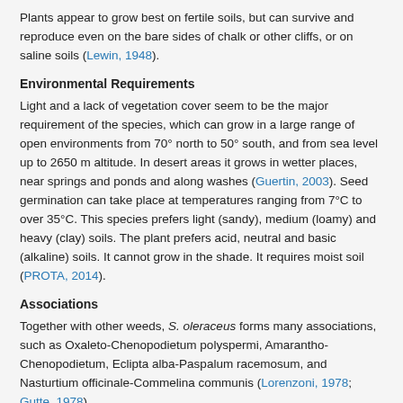Plants appear to grow best on fertile soils, but can survive and reproduce even on the bare sides of chalk or other cliffs, or on saline soils (Lewin, 1948).
Environmental Requirements
Light and a lack of vegetation cover seem to be the major requirement of the species, which can grow in a large range of open environments from 70° north to 50° south, and from sea level up to 2650 m altitude. In desert areas it grows in wetter places, near springs and ponds and along washes (Guertin, 2003). Seed germination can take place at temperatures ranging from 7°C to over 35°C. This species prefers light (sandy), medium (loamy) and heavy (clay) soils. The plant prefers acid, neutral and basic (alkaline) soils. It cannot grow in the shade. It requires moist soil (PROTA, 2014).
Associations
Together with other weeds, S. oleraceus forms many associations, such as Oxaleto-Chenopodietum polyspermi, Amarantho-Chenopodietum, Eclipta alba-Paspalum racemosum, and Nasturtium officinale-Commelina communis (Lorenzoni, 1978; Gutte, 1978).
Lewin (1948) said, 'S. oleraceus exhibits such a wide range of tolerances of soil conditions that it may be found associated with any other weeds of arable land.' The same author goes on to list the